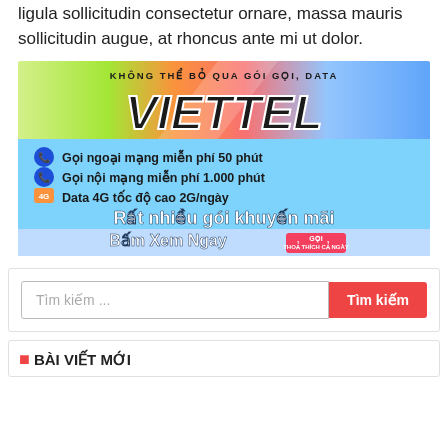ligula sollicitudin consectetur ornare, massa mauris sollicitudin augue, at rhoncus ante mi ut dolor.
[Figure (infographic): Viettel mobile network advertisement banner. Top section shows diagonal colorful stripes (green, orange, red, blue) with text 'KHÔNG THỂ BỎ QUA GÓI GỌI, DATA' and large stylized bold italic text 'VIETTEL'. Middle blue section lists: Gọi ngoại mạng miễn phí 50 phút, Gọi nội mạng miễn phí 1.000 phút, Data 4G tốc độ cao 2G/ngày. Bold white text reads 'Rất nhiều gói khuyến mãi'. Bottom section shows 'Bấm Xem Ngay' with a red badge 'GỌI THOẢ THÍCH CẢ NGÀY'.]
Tìm kiếm ...
BÀI VIẾT MỚI